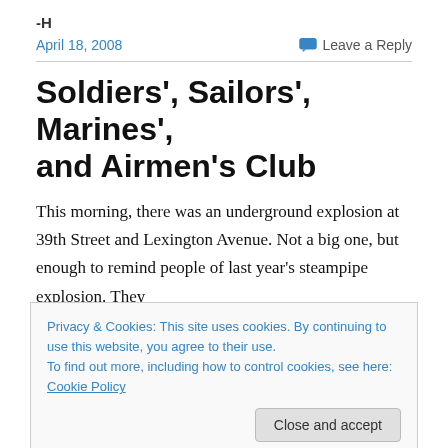-H
April 18, 2008
Leave a Reply
Soldiers', Sailors', Marines', and Airmen's Club
This morning, there was an underground explosion at 39th Street and Lexington Avenue. Not a big one, but enough to remind people of last year's steampipe explosion. They
Privacy & Cookies: This site uses cookies. By continuing to use this website, you agree to their use.
To find out more, including how to control cookies, see here: Cookie Policy
Street and Lexington Avenue.